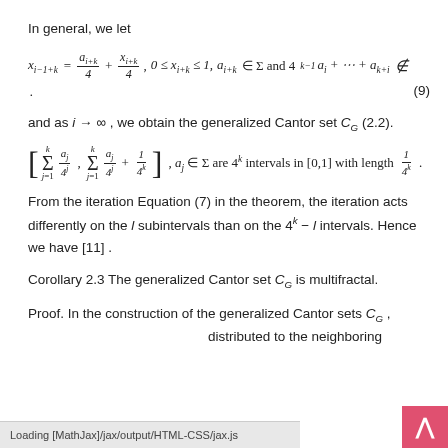In general, we let
and as i → ∞ , we obtain the generalized Cantor set C_G (2.2).
From the iteration Equation (7) in the theorem, the iteration acts differently on the l subintervals than on the 4^k – l intervals. Hence we have [11] .
Corollary 2.3 The generalized Cantor set C_G is multifractal.
Proof. In the construction of the generalized Cantor sets C_G , distributed to the neighboring
Loading [MathJax]/jax/output/HTML-CSS/jax.js